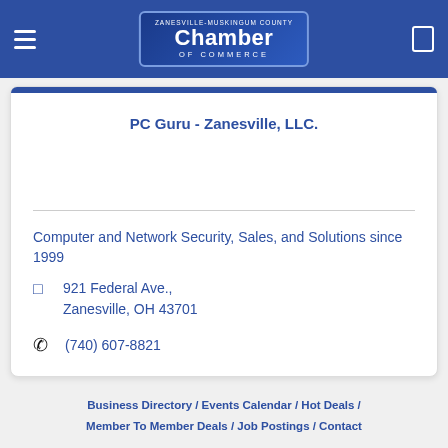Zanesville-Muskingum County Chamber of Commerce
PC Guru - Zanesville, LLC.
Computer and Network Security, Sales, and Solutions since 1999
921 Federal Ave., Zanesville, OH 43701
(740) 607-8821
Business Directory / Events Calendar / Hot Deals / Member To Member Deals / Job Postings / Contact